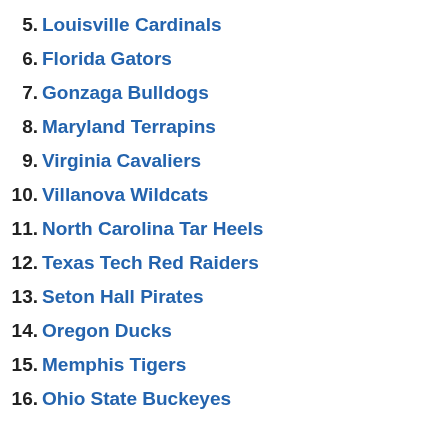5. Louisville Cardinals
6. Florida Gators
7. Gonzaga Bulldogs
8. Maryland Terrapins
9. Virginia Cavaliers
10. Villanova Wildcats
11. North Carolina Tar Heels
12. Texas Tech Red Raiders
13. Seton Hall Pirates
14. Oregon Ducks
15. Memphis Tigers
16. Ohio State Buckeyes